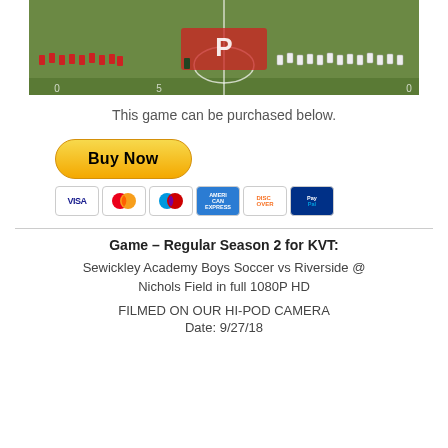[Figure (photo): Soccer teams lined up on a football field with red markings, viewed from above. Two teams on opposite sides of midfield.]
This game can be purchased below.
[Figure (other): PayPal Buy Now button with credit card icons below (Visa, Mastercard, Maestro, American Express, Discover, PayPal Credit)]
Game – Regular Season 2 for KVT:
Sewickley Academy Boys Soccer vs Riverside @ Nichols Field in full 1080P HD
FILMED ON OUR HI-POD CAMERA
Date: 9/27/18